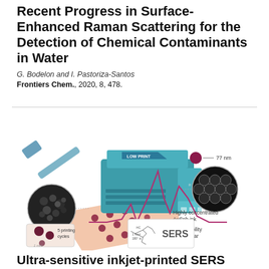Recent Progress in Surface-Enhanced Raman Scattering for the Detection of Chemical Contaminants in Water
G. Bodelon and I. Pastoriza-Santos
Frontiers Chem., 2020, 8, 478.
[Figure (illustration): Scientific illustration showing a low-cost SERS inkjet printing system with a benchtop printer device, a printed substrate with SERS spots showing Raman spectral peaks, microscopy images of gold nanosphere substrates, labeled callouts for 77 nm particle size, highly concentrated AuSph ink, high stability over 1 year, 5 printing cycles, and a chemical structure diagram with SERS label.]
Ultra-sensitive inkjet-printed SERS